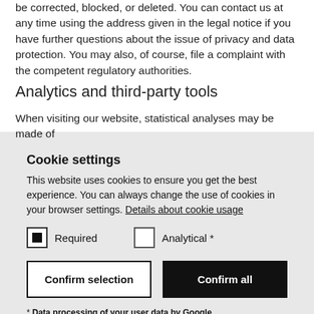be corrected, blocked, or deleted. You can contact us at any time using the address given in the legal notice if you have further questions about the issue of privacy and data protection. You may also, of course, file a complaint with the competent regulatory authorities.
Analytics and third-party tools
When visiting our website, statistical analyses may be made of
[Figure (screenshot): Cookie settings dialog box with title 'Cookie settings', description text, a link 'Details about cookie usage', two checkboxes (Required checked, Analytical unchecked), two buttons (Confirm selection, Confirm all), and a footnote about data processing by Google.]
* Data processing of your user data by Google